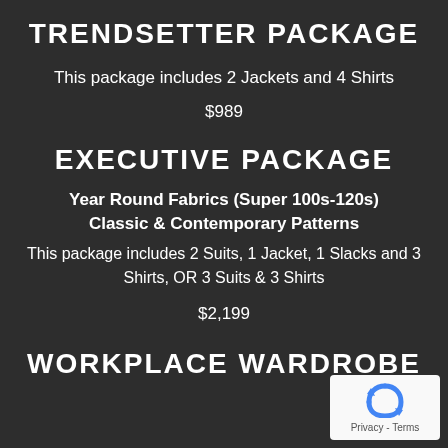TRENDSETTER PACKAGE
This package includes 2 Jackets and 4 Shirts
$989
EXECUTIVE PACKAGE
Year Round Fabrics (Super 100s-120s)
Classic & Contemporary Patterns
This package includes 2 Suits, 1 Jacket, 1 Slacks and 3 Shirts, OR 3 Suits & 3 Shirts
$2,199
WORKPLACE WARDROBE
[Figure (other): reCAPTCHA widget overlay showing recycle-arrows logo and Privacy - Terms text]